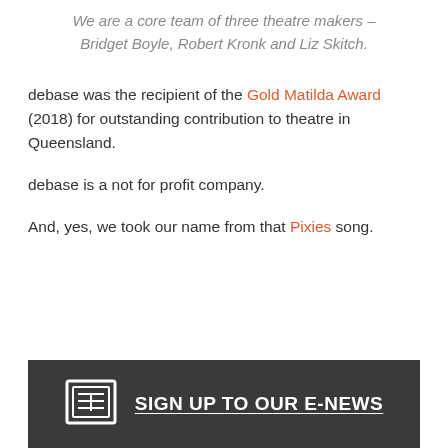We are a core team of three theatre makers – Bridget Boyle, Robert Kronk and Liz Skitch.
debase was the recipient of the Gold Matilda Award (2018) for outstanding contribution to theatre in Queensland.
debase is a not for profit company.
And, yes, we took our name from that Pixies song.
SIGN UP TO OUR E-NEWS